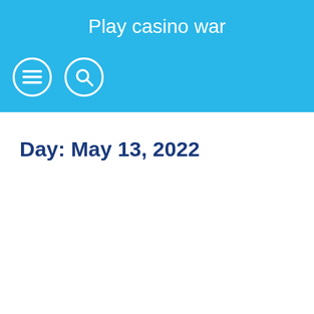Play casino war
[Figure (other): Navigation icons: hamburger menu icon and search icon, both in white circles on blue background]
Day: May 13, 2022